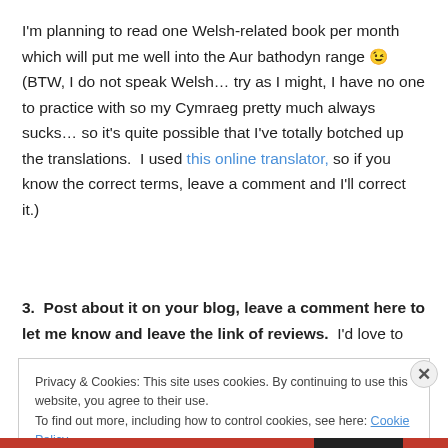I'm planning to read one Welsh-related book per month which will put me well into the Aur bathodyn range 😉 (BTW, I do not speak Welsh… try as I might, I have no one to practice with so my Cymraeg pretty much always sucks… so it's quite possible that I've totally botched up the translations.  I used this online translator, so if you know the correct terms, leave a comment and I'll correct it.)
3.  Post about it on your blog, leave a comment here to let me know and leave the link of reviews.  I'd love to
Privacy & Cookies: This site uses cookies. By continuing to use this website, you agree to their use.
To find out more, including how to control cookies, see here: Cookie Policy